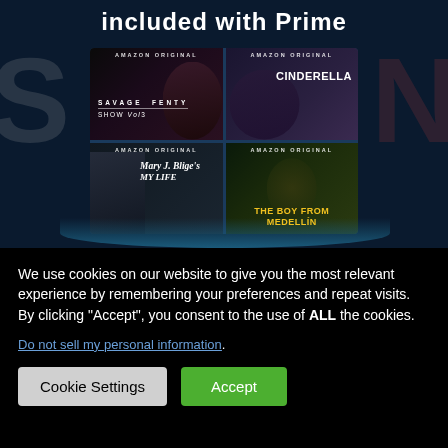[Figure (screenshot): Amazon Prime Video promotional banner showing 'included with Prime' header and a 2x2 grid of Amazon Original titles: Savage Fenty Show Vol 3, Cinderella, Mary J. Blige's My Life, and The Boy From Medellín]
We use cookies on our website to give you the most relevant experience by remembering your preferences and repeat visits. By clicking “Accept”, you consent to the use of ALL the cookies.
Do not sell my personal information.
Cookie Settings
Accept